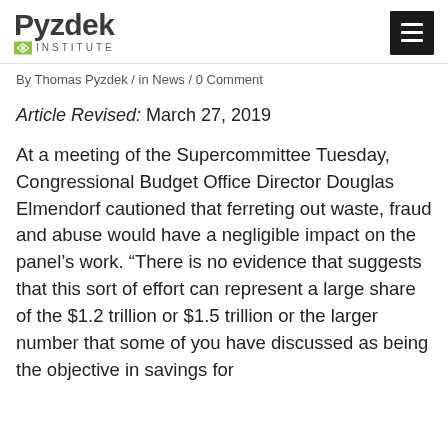[Figure (logo): Pyzdek Institute logo with green diamond icon and institute text]
By Thomas Pyzdek / in News / 0 Comment
Article Revised: March 27, 2019
At a meeting of the Supercommittee Tuesday, Congressional Budget Office Director Douglas Elmendorf cautioned that ferreting out waste, fraud and abuse would have a negligible impact on the panel’s work. “There is no evidence that suggests that this sort of effort can represent a large share of the $1.2 trillion or $1.5 trillion or the larger number that some of you have discussed as being the objective in savings for